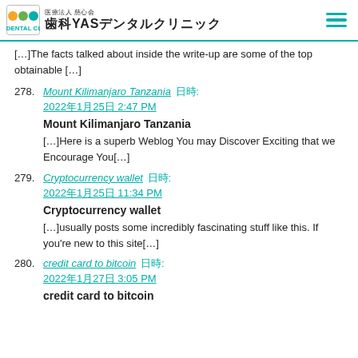医療法人 慈心会 歯科YASデンタルクリニック
[…]The facts talked about inside the write-up are some of the top obtainable […]
278. Mount Kilimanjaro Tanzania 日時: 2022年1月25日 2:47 PM

Mount Kilimanjaro Tanzania

[…]Here is a superb Weblog You may Discover Exciting that we Encourage You[…]
279. Cryptocurrency wallet 日時: 2022年1月25日 11:34 PM

Cryptocurrency wallet

[…]usually posts some incredibly fascinating stuff like this. If you're new to this site[…]
280. credit card to bitcoin 日時: 2022年1月27日 3:05 PM

credit card to bitcoin